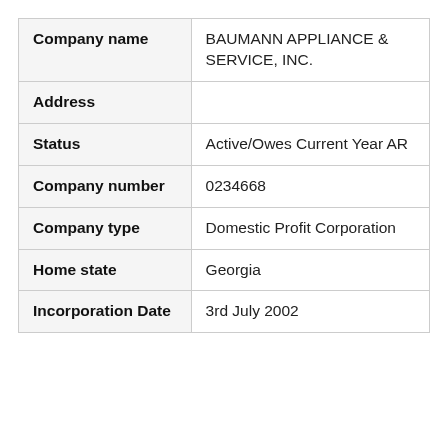| Field | Value |
| --- | --- |
| Company name | BAUMANN APPLIANCE & SERVICE, INC. |
| Address |  |
| Status | Active/Owes Current Year AR |
| Company number | 0234668 |
| Company type | Domestic Profit Corporation |
| Home state | Georgia |
| Incorporation Date | 3rd July 2002 |